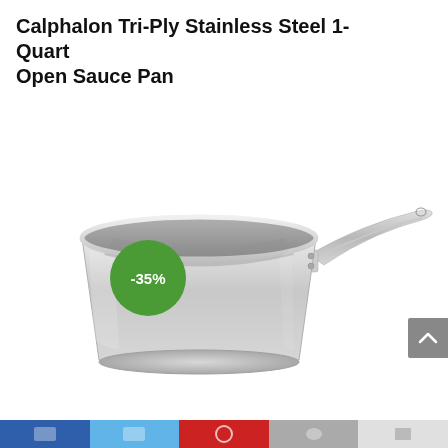Calphalon Tri-Ply Stainless Steel 1-Quart Open Sauce Pan
[Figure (photo): A stainless steel 1-quart open sauce pan with a long metal handle, viewed from a slightly elevated front angle. The pan has a polished exterior and interior. A green circular badge with '-35%' text is overlaid in the upper-left area of the image.]
Bottom navigation bar with social sharing icons